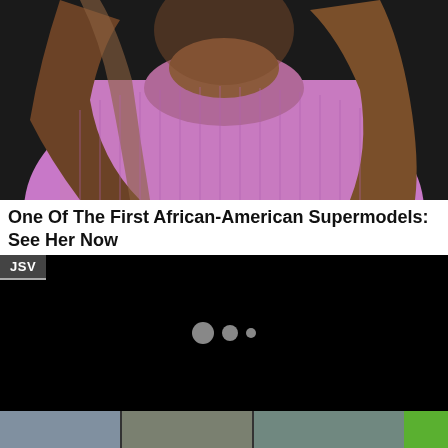[Figure (photo): Woman in pink/purple knit top with long hair, photographed from chest up against a dark background]
One Of The First African-American Supermodels: See Her Now
[Figure (screenshot): Black video player loading screen with JSV badge in upper left corner and three loading dots (large, medium, small) centered in the frame]
[Figure (photo): Bottom strip of a web page showing partial photo thumbnails with a green element at right edge, partially cut off]